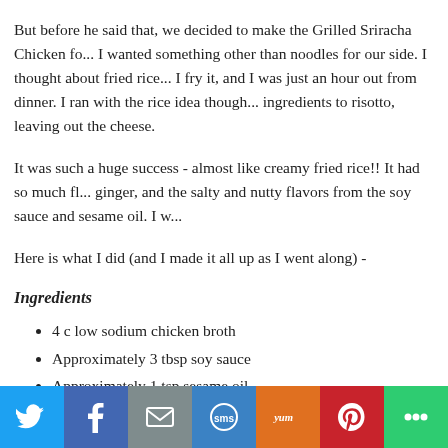But before he said that, we decided to make the Grilled Sriracha Chicken fo... I wanted something other than noodles for our side. I thought about fried rice... I fry it, and I was just an hour out from dinner. I ran with the rice idea though... ingredients to risotto, leaving out the cheese.
It was such a huge success - almost like creamy fried rice!! It had so much fl... ginger, and the salty and nutty flavors from the soy sauce and sesame oil. I w...
Here is what I did (and I made it all up as I went along) -
Ingredients
4 c low sodium chicken broth
Approximately 3 tbsp soy sauce
Approximately 1 tsp sesame oil
2 tsp ginger, grated (separated)
1 tbsp olive oil